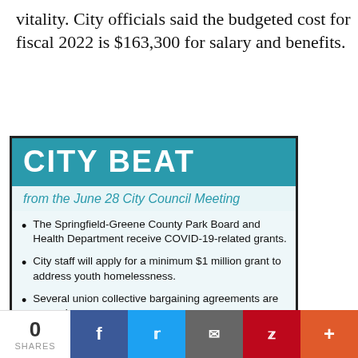vitality. City officials said the budgeted cost for fiscal 2022 is $163,300 for salary and benefits.
CITY BEAT
from the June 28 City Council Meeting
The Springfield-Greene County Park Board and Health Department receive COVID-19-related grants.
City staff will apply for a minimum $1 million grant to address youth homelessness.
Several union collective bargaining agreements are passed.
Council approves the creation of a Department of Economic Vitality.
0 SHARES | Facebook | Twitter | Email | Pinterest | More